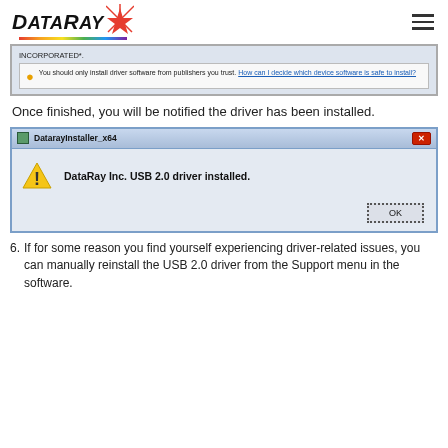DataRay
[Figure (screenshot): Windows driver install dialog showing 'INCORPORATED*.' text and a warning: 'You should only install driver software from publishers you trust. How can I decide which device software is safe to install?']
Once finished, you will be notified the driver has been installed.
[Figure (screenshot): DatarayInstaller_x64 dialog box with warning icon and message 'DataRay Inc. USB 2.0 driver installed.' and an OK button.]
6. If for some reason you find yourself experiencing driver-related issues, you can manually reinstall the USB 2.0 driver from the Support menu in the software.